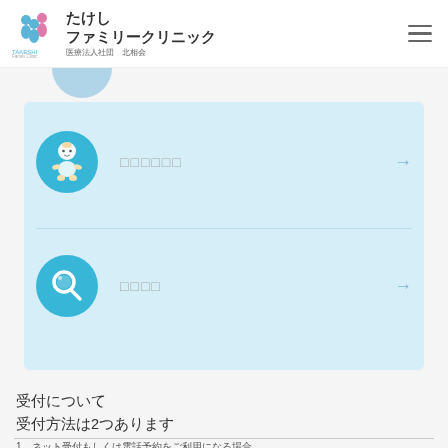たけし ファミリークリニック 医療法人社団　北相会
[Figure (illustration): Blue circle partially visible at top of light-blue card section]
□□□□□□ →
□□□□ →
受付について
受付方法は2つあります
1．ネット受付もしくは電話予約をご利用になる場合